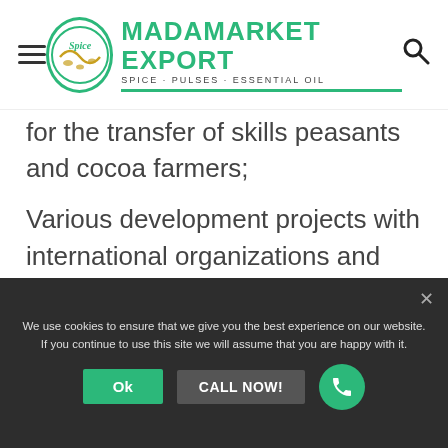Madamarket Export - Spice Pulses Essential Oil
for the transfer of skills peasants and cocoa farmers;
Various development projects with international organizations and NGOs including training, cooperatives …
Malagasy cocoa: exceptional quality, world reputation; more acidic than others =
We use cookies to ensure that we give you the best experience on our website. If you continue to use this site we will assume that you are happy with it.